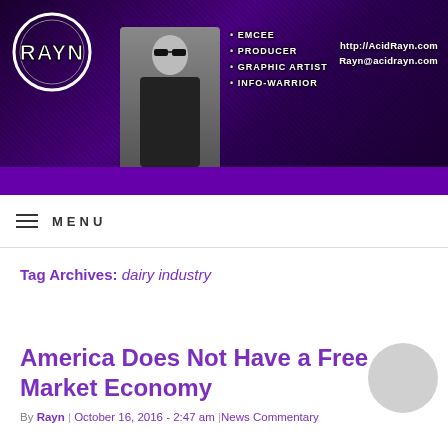[Figure (illustration): Website banner for AcidRayn.com featuring a dark purple textured background with the RAYN logo on the left, a person wearing sunglasses in the center, bullet points listing EMCEE, PRODUCER, GRAPHIC ARTIST, INFO-WARRIOR, and contact info http://AcidRayn.com and Rayn@acidrayn.com on the right.]
MENU
Tag Archives: dairy industry
America Does Not Have a Free Market Economy
By Rayn | October 16, 2016 - 2:47 am |News Commentary